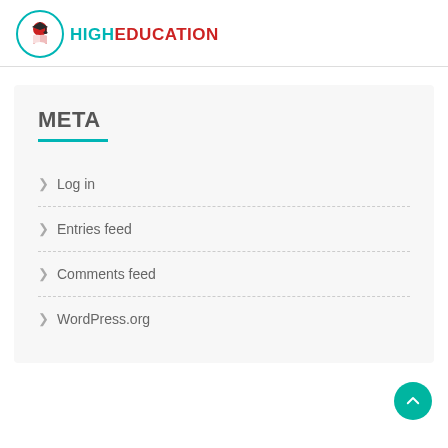[Figure (logo): HighEducation logo with teal circle border containing a graduation figure with open book, followed by 'HIGH' in teal and 'EDUCATION' in red bold text]
META
Log in
Entries feed
Comments feed
WordPress.org